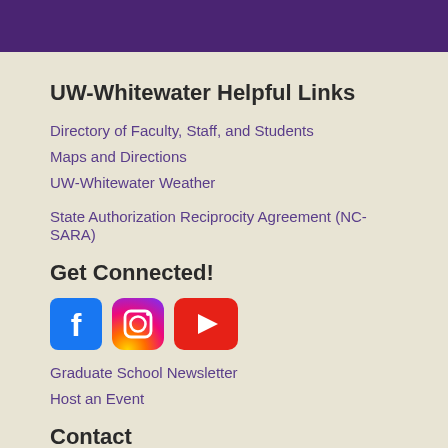UW-Whitewater Helpful Links
Directory of Faculty, Staff, and Students
Maps and Directions
UW-Whitewater Weather
State Authorization Reciprocity Agreement (NC-SARA)
Get Connected!
[Figure (logo): Social media icons: Facebook, Instagram, YouTube]
Graduate School Newsletter
Host an Event
Contact
UW - Whitewater
Continuing Education
Roseman 2013